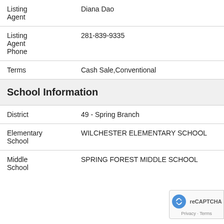| Listing Agent | Diana Dao |
| Listing Agent Phone | 281-839-9335 |
| Terms | Cash Sale,Conventional |
School Information
| District | 49 - Spring Branch |
| Elementary School | WILCHESTER ELEMENTARY SCHOOL |
| Middle School | SPRING FOREST MIDDLE SCHOOL |